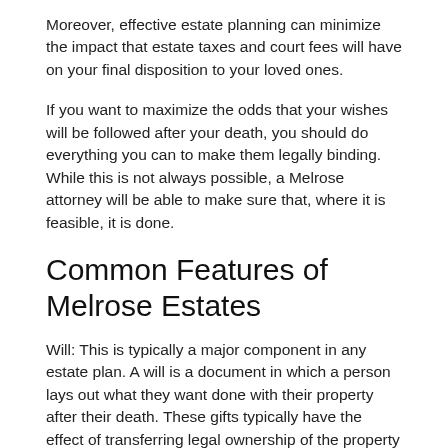Moreover, effective estate planning can minimize the impact that estate taxes and court fees will have on your final disposition to your loved ones.
If you want to maximize the odds that your wishes will be followed after your death, you should do everything you can to make them legally binding. While this is not always possible, a Melrose attorney will be able to make sure that, where it is feasible, it is done.
Common Features of Melrose Estates
Will: This is typically a major component in any estate plan. A will is a document in which a person lays out what they want done with their property after their death. These gifts typically have the effect of transferring legal ownership of the property to the named beneficiary.